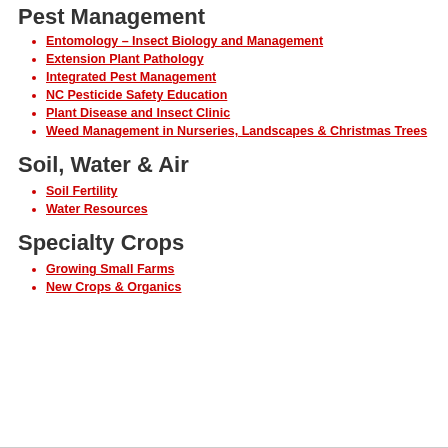Pest Management
Entomology – Insect Biology and Management
Extension Plant Pathology
Integrated Pest Management
NC Pesticide Safety Education
Plant Disease and Insect Clinic
Weed Management in Nurseries, Landscapes & Christmas Trees
Soil, Water & Air
Soil Fertility
Water Resources
Specialty Crops
Growing Small Farms
New Crops & Organics